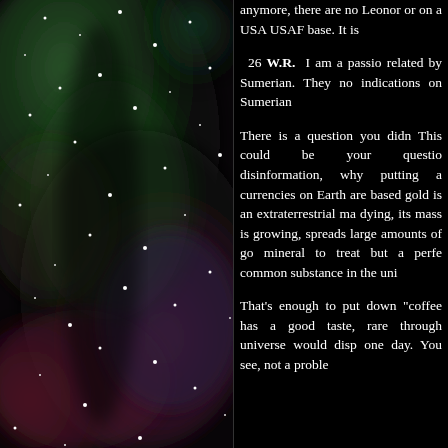[Figure (photo): Astronomical nebula photo showing colorful gas clouds in green, red, and purple hues with scattered bright stars against a dark background.]
anymore, there are no Leonor or on a USA USAF base. It is
26 W.R.  I am a passio related by Sumerian. They no indications on Sumerian
There is a question you didn This could be your questio disinformation, why putting a currencies on Earth are based gold is an extraterrestrial ma dying, its mass is growing, spreads large amounts of go mineral to treat but a perfe common substance in the uni
That's enough to put down "coffee has a good taste, rare through universe would disp one day. You see, not a proble